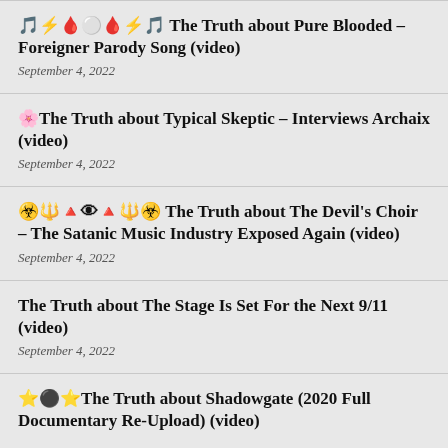🎵⚡🩸⚪🩸⚡🎵 The Truth about Pure Blooded - Foreigner Parody Song (video)
September 4, 2022
🌸The Truth about Typical Skeptic - Interviews Archaix (video)
September 4, 2022
☣️🔱🔺👁🔺🔱☣️ The Truth about The Devil's Choir - The Satanic Music Industry Exposed Again (video)
September 4, 2022
The Truth about The Stage Is Set For the Next 9/11 (video)
September 4, 2022
⭐⚫⭐The Truth about Shadowgate (2020 Full Documentary Re-Upload) (video)